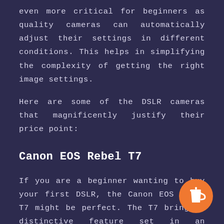even more critical for beginners as quality cameras can automatically adjust their settings in different conditions. This helps in simplifying the complexity of getting the right image settings.
Here are some of the DSLR cameras that magnificently justify their price point:
Canon EOS Rebel T7
If you are a beginner wanting to buy your first DSLR, the Canon EOS Rebel T7 might be perfect. The T7 brings a distinctive feature set in an affordable price range of just under $500. Canon's camera UI has always been a significant selling point due to being easy to use, and the T
[Figure (illustration): Orange circular button with a coffee cup icon in the bottom-right corner of the page]